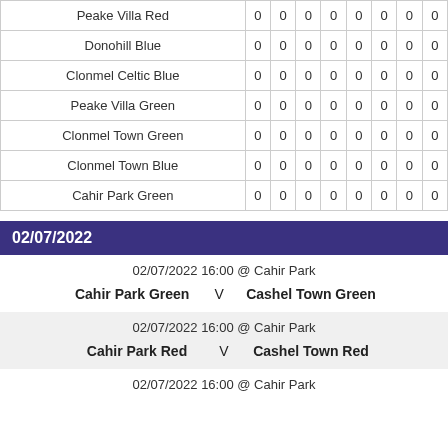|  |  |  |  |  |  |  |  |  |
| --- | --- | --- | --- | --- | --- | --- | --- | --- |
| Peake Villa Red | 0 | 0 | 0 | 0 | 0 | 0 | 0 | 0 |
| Donohill Blue | 0 | 0 | 0 | 0 | 0 | 0 | 0 | 0 |
| Clonmel Celtic Blue | 0 | 0 | 0 | 0 | 0 | 0 | 0 | 0 |
| Peake Villa Green | 0 | 0 | 0 | 0 | 0 | 0 | 0 | 0 |
| Clonmel Town Green | 0 | 0 | 0 | 0 | 0 | 0 | 0 | 0 |
| Clonmel Town Blue | 0 | 0 | 0 | 0 | 0 | 0 | 0 | 0 |
| Cahir Park Green | 0 | 0 | 0 | 0 | 0 | 0 | 0 | 0 |
02/07/2022
02/07/2022 16:00 @ Cahir Park
Cahir Park Green  V  Cashel Town Green
02/07/2022 16:00 @ Cahir Park
Cahir Park Red  V  Cashel Town Red
02/07/2022 16:00 @ Cahir Park